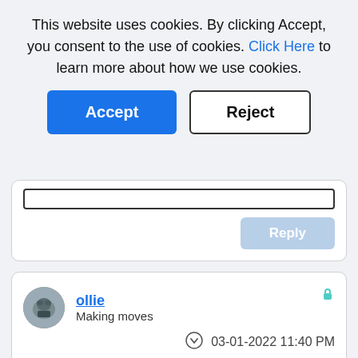This website uses cookies. By clicking Accept, you consent to the use of cookies. Click Here to learn more about how we use cookies.
Accept
Reject
Reply
ollie
Making moves
03-01-2022 11:40 PM
Tab groups would massively help with my productivity. I'm coming from Chromebook and I was used to them